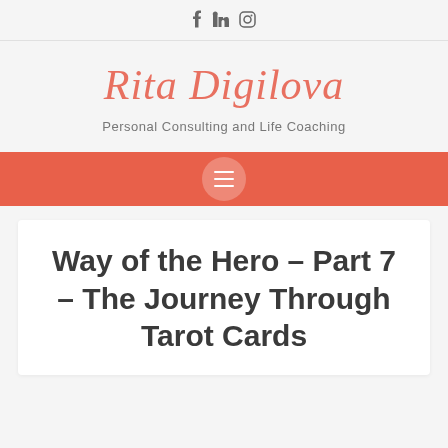f  in  🔲
Rita Digilova
Personal Consulting and Life Coaching
[Figure (other): Navigation bar with hamburger menu button on coral/red-orange background]
Way of the Hero – Part 7 – The Journey Through Tarot Cards